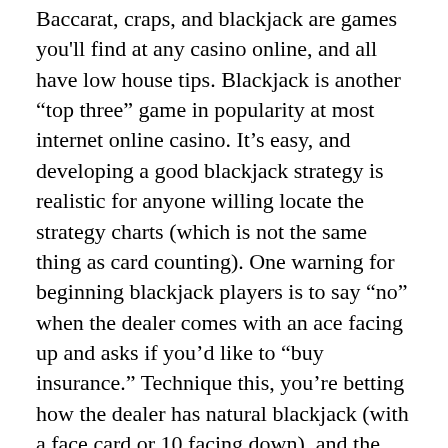Baccarat, craps, and blackjack are games you'll find at any casino online, and all have low house tips. Blackjack is another “top three” game in popularity at most internet online casino. It’s easy, and developing a good blackjack strategy is realistic for anyone willing locate the strategy charts (which is not the same thing as card counting). One warning for beginning blackjack players is to say “no” when the dealer comes with an ace facing up and asks if you’d like to “buy insurance.” Technique this, you’re betting how the dealer has natural blackjack (with a face card or 10 facing down), and the chances are heavily against that many. The house edge on insurance bets in blackjack is over 14%.
If you just aren’t into team sports write off want take pleasure in the thrill of sports betting, each day at the races is just the thing a person personally. Gambling on horse races counts among the oldest Baccarat online and a lot of prestigious varieties of gambling and still is